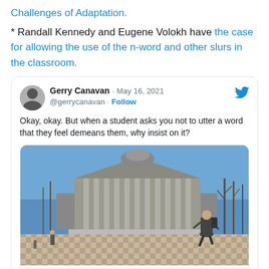Challenges of Adaptation.
* Randall Kennedy and Eugene Volokh have the case for allowing the use of the n-word and other slurs in the classroom.
[Figure (screenshot): Embedded tweet from @gerrycanavan dated May 16, 2021 with text: 'Okay, okay. But when a student asks you not to utter a word that they feel demeans them, why insist on it?' with an image of Columbia University campus and source washingtonpost.com]